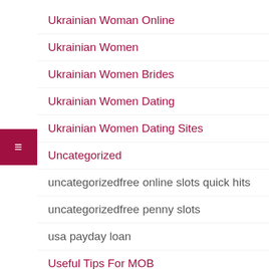Ukrainian Woman Online
Ukrainian Women
Ukrainian Women Brides
Ukrainian Women Dating
Ukrainian Women Dating Sites
Uncategorized
uncategorizedfree online slots quick hits
uncategorizedfree penny slots
usa payday loan
Useful Tips For MOB
Vape Pen For Cbd Oil
Venezuelan Brides